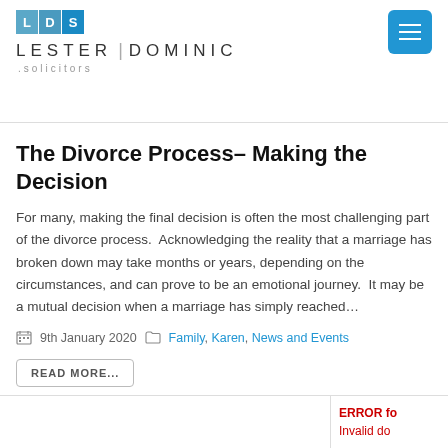[Figure (logo): LDS (Lester Dominic Solicitors) logo with colored letter tiles and firm name]
The Divorce Process– Making the Decision
For many, making the final decision is often the most challenging part of the divorce process.  Acknowledging the reality that a marriage has broken down may take months or years, depending on the circumstances, and can prove to be an emotional journey.  It may be a mutual decision when a marriage has simply reached...
9th January 2020   Family, Karen, News and Events
READ MORE...
ERROR fo... Invalid do...